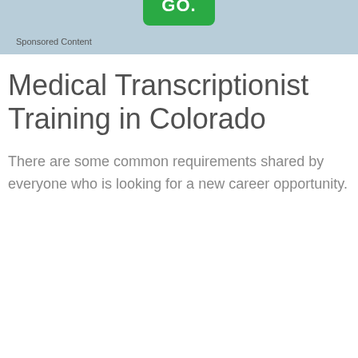[Figure (other): Light blue banner with a green rounded button labeled GO! at the top center]
Sponsored Content
Medical Transcriptionist Training in Colorado
There are some common requirements shared by everyone who is looking for a new career opportunity.